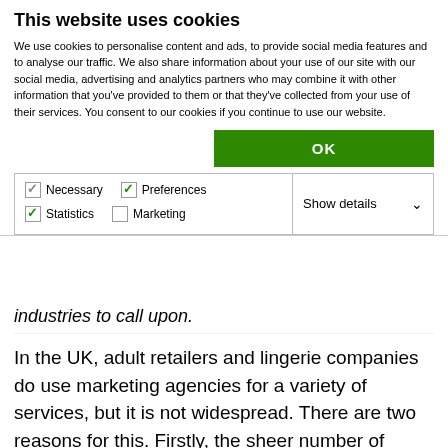This website uses cookies
We use cookies to personalise content and ads, to provide social media features and to analyse our traffic. We also share information about your use of our site with our social media, advertising and analytics partners who may combine it with other information that you've provided to them or that they've collected from your use of their services. You consent to our cookies if you continue to use our website.
OK
Necessary  Preferences  Statistics  Marketing  Show details
industries to call upon.
In the UK, adult retailers and lingerie companies do use marketing agencies for a variety of services, but it is not widespread. There are two reasons for this. Firstly, the sheer number of micro enterprises competing in this sector, who very often lack the money to spend on such expertise. There’s also a general lack of appreciation for marketing itself, I feel. So, it will not be an easy sell, but we’re really keen to see the sector as a whole do well, and see customer-focused, marketing-led